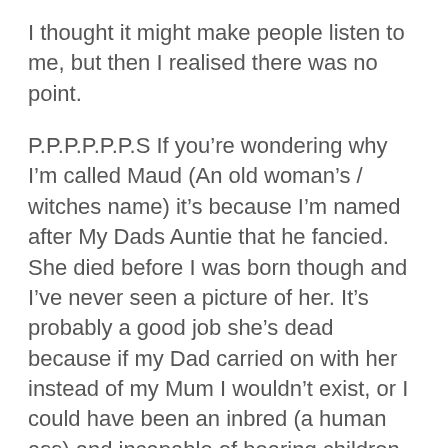I thought it might make people listen to me, but then I realised there was no point.
P.P.P.P.P.P.S If you’re wondering why I’m called Maud (An old woman’s / witches name) it’s because I’m named after My Dads Auntie that he fancied. She died before I was born though and I’ve never seen a picture of her. It’s probably a good job she’s dead because if my Dad carried on with her instead of my Mum I wouldn’t exist, or I could have been an inbred (a human ass) and incapable of bearing children (If I ever wanted to).
P.P.P.P.P.P.S It’s not that I don’t have any actual hip bones. I do, I can feel them. They’re just still lined up with my rib cage. I’ve been led to believe this will change after I have metamorphosed